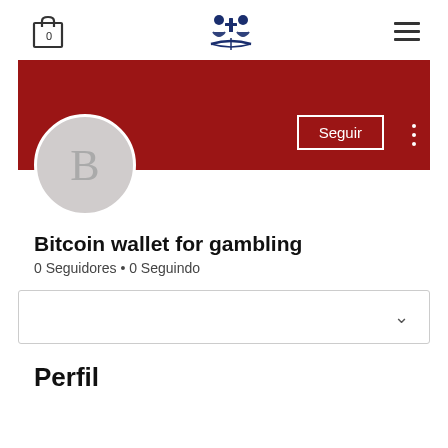0 [cart icon] [logo] [hamburger menu]
[Figure (screenshot): User profile page with dark red banner, circular avatar with letter B, Seguir (Follow) button, username Bitcoin wallet for gambling, follower stats, dropdown row, and Perfil section heading]
Bitcoin wallet for gambling
0 Seguidores • 0 Seguindo
Perfil